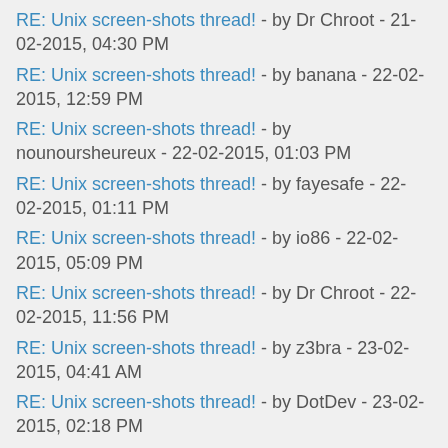RE: Unix screen-shots thread! - by Dr Chroot - 21-02-2015, 04:30 PM
RE: Unix screen-shots thread! - by banana - 22-02-2015, 12:59 PM
RE: Unix screen-shots thread! - by nounoursheureux - 22-02-2015, 01:03 PM
RE: Unix screen-shots thread! - by fayesafe - 22-02-2015, 01:11 PM
RE: Unix screen-shots thread! - by io86 - 22-02-2015, 05:09 PM
RE: Unix screen-shots thread! - by Dr Chroot - 22-02-2015, 11:56 PM
RE: Unix screen-shots thread! - by z3bra - 23-02-2015, 04:41 AM
RE: Unix screen-shots thread! - by DotDev - 23-02-2015, 02:18 PM
RE: Unix screen-shots thread! - by boris - 24-02-2015, 02:24 PM
RE: Unix screen-shots thread! - by Dr Chroot - 24-02-2015, 08:16 PM
RE: Unix screen-shots thread! - by noeasade - 27-02-2015,